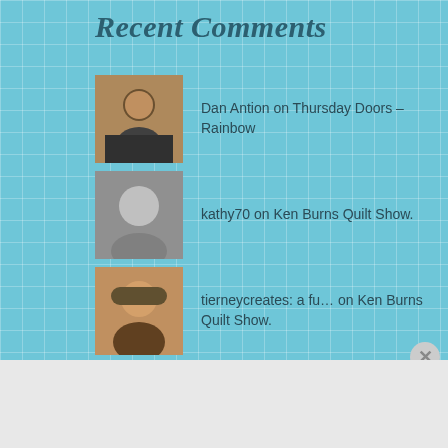Recent Comments
Dan Antion on Thursday Doors – Rainbow
kathy70 on Ken Burns Quilt Show.
tierneycreates: a fu… on Ken Burns Quilt Show.
trkingmomoe on Ken Burns Quilt Show.
tehachap on Ken Burns Quilt Show.
Advertisements
[Figure (screenshot): WooCommerce advertisement banner: 'How to start selling subscriptions online']